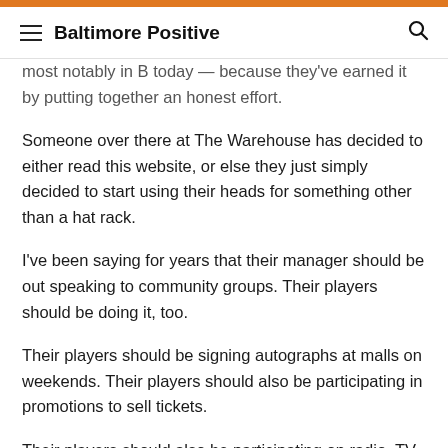Baltimore Positive
most notably in B today — because they've earned it by putting together an honest effort.
Someone over there at The Warehouse has decided to either read this website, or else they just simply decided to start using their heads for something other than a hat rack.
I've been saying for years that their manager should be out speaking to community groups. Their players should be doing it, too.
Their players should be signing autographs at malls on weekends. Their players should also be participating in promotions to sell tickets.
Their players should also be participating on radio, TV,